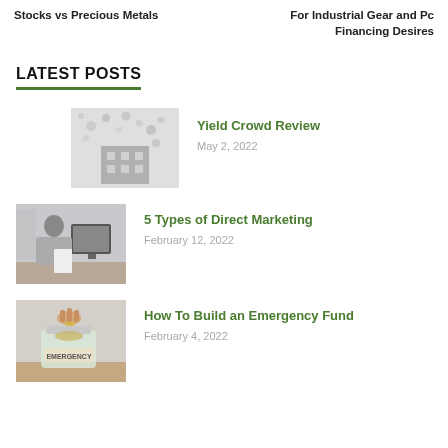Stocks vs Precious Metals    For Industrial Gear and Pc Financing Desires
LATEST POSTS
[Figure (photo): Scattered coins and a building illustration, representing crowdfunding/investment]
Yield Crowd Review
May 2, 2022
[Figure (photo): Man sitting at a desk with a computer, reviewing documents in an office]
5 Types of Direct Marketing
February 12, 2022
[Figure (photo): Hand placing a coin into a glass jar labeled EMERGENCY, on a wooden surface]
How To Build an Emergency Fund
February 4, 2022